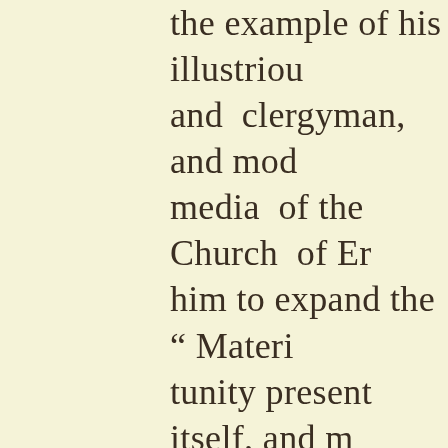the example of his illustrious and clergyman, and mod media of the Church of Er him to expand the “ Materi tunity present itself, and m for a new biography. The School, and subsequently largest parishes in Englar devoted to building and v churches, and rebuilding a idea of carrying out the